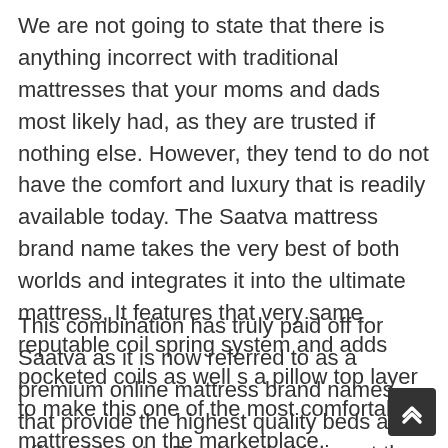We are not going to state that there is anything incorrect with traditional mattresses that your moms and dads most likely had, as they are trusted if nothing else. However, they tend to do not have the comfort and luxury that is readily available today. The Saatva mattress brand name takes the very best of both worlds and integrates it into the ultimate mattress, It features that very same reputable coil spring system and adds pocketed coils as well s a pillow top layer to make this one of the most comfortable mattresses on the marketplace.
This combination has truly paid off for Saatva as it is now referred to as a premium online mattress brand names that provide the highest quality beds at an affordable rate. Be alerted, this is not the best bed for anybody on a spending plan. However, if you are willing to invest over $1,000 for a bed it might